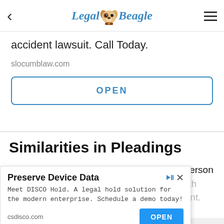Legal Beagle
[Figure (screenshot): Top advertisement banner with text 'accident lawsuit. Call Today.' and URL 'slocumblaw.com' and OPEN button]
Similarities in Pleadings
Both complaints and petitions identify the person or entity f... y he's suing. petition... The person... a
[Figure (screenshot): Overlay advertisement: 'Preserve Device Data' - Meet DISCO Hold. A legal hold solution for the modern enterprise. Schedule a demo today! csdisco.com OPEN button]